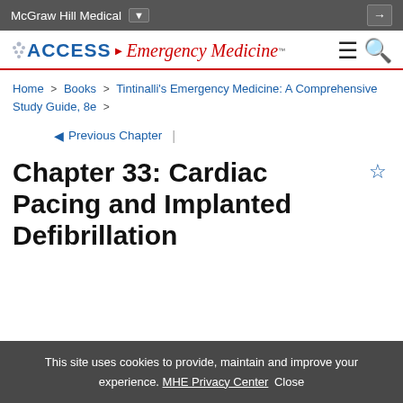McGraw Hill Medical
[Figure (logo): Access Emergency Medicine logo with hamburger menu and search icons]
Home > Books > Tintinalli's Emergency Medicine: A Comprehensive Study Guide, 8e >
◄ Previous Chapter |
Chapter 33: Cardiac Pacing and Implanted Defibrillation
This site uses cookies to provide, maintain and improve your experience. MHE Privacy Center  Close